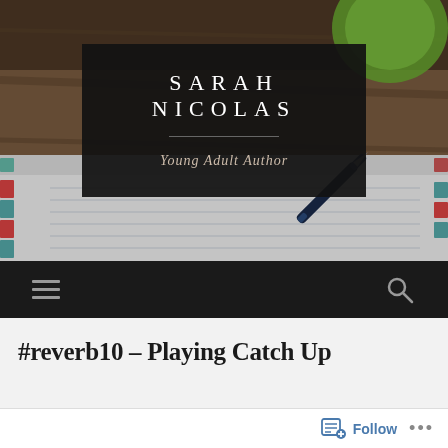[Figure (photo): Header photo showing notebooks with colored tabs and a fountain pen on a wooden desk, with a green cup in upper right, blurred background]
SARAH NICOLAS
Young Adult Author
[Figure (screenshot): Navigation bar with hamburger menu icon on the left and search icon on the right, dark background]
#reverb10 – Playing Catch Up
Follow